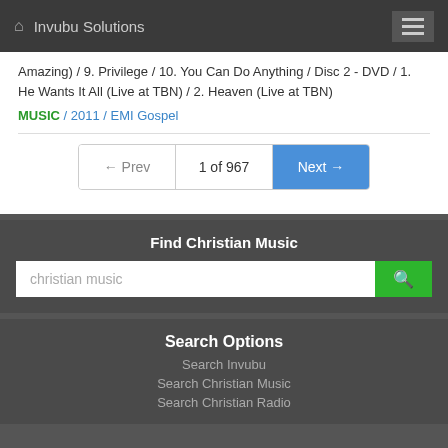Invubu Solutions
Amazing) / 9. Privilege / 10. You Can Do Anything / Disc 2 - DVD / 1. He Wants It All (Live at TBN) / 2. Heaven (Live at TBN)
MUSIC / 2011 / EMI Gospel
← Prev  1 of 967  Next →
Find Christian Music
christian music
Search Options
Search Invubu
Search Christian Music
Search Christian Radio